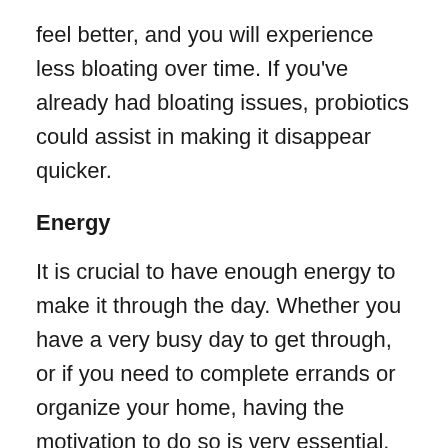feel better, and you will experience less bloating over time. If you've already had bloating issues, probiotics could assist in making it disappear quicker.
Energy
It is crucial to have enough energy to make it through the day. Whether you have a very busy day to get through, or if you need to complete errands or organize your home, having the motivation to do so is very essential. While sleep plays an essential aspect in this, digestion is also an important factor in the amount of energy and time you can get each day. If your stomach is irritable or not at rest, then your body and your body may be irritable. Probiotics can boost the energy level of your body, by boosting their